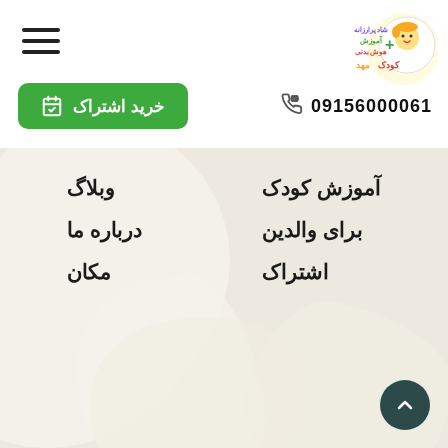[Figure (logo): Colorful children's education logo with Persian text, top right corner]
09156000061
خرید اشتراک
آموزش کودک
برای والدین
اشتراک
وبلاگ
درباره ما
مکان